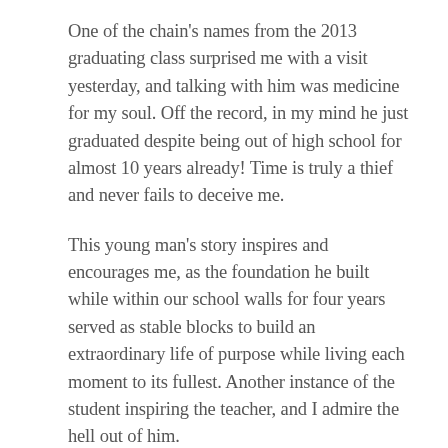One of the chain's names from the 2013 graduating class surprised me with a visit yesterday, and talking with him was medicine for my soul. Off the record, in my mind he just graduated despite being out of high school for almost 10 years already! Time is truly a thief and never fails to deceive me.
This young man's story inspires and encourages me, as the foundation he built while within our school walls for four years served as stable blocks to build an extraordinary life of purpose while living each moment to its fullest. Another instance of the student inspiring the teacher, and I admire the hell out of him.
In fact, his incredible influence is like gasoline fueling my already fantastically flaming fire as I am actively revising my novel, which I've worked on every day since deciding to dust the manuscript off. In between work and home